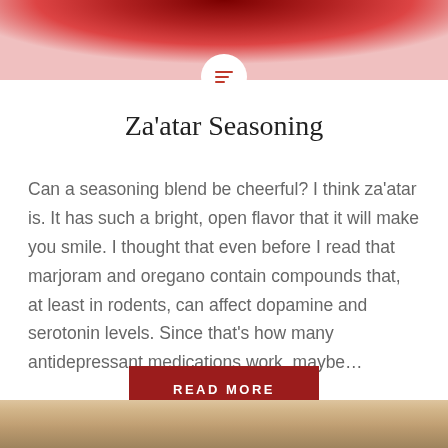[Figure (photo): Top portion of a bowl with red and white background, food photo]
Za’atar Seasoning
Can a seasoning blend be cheerful? I think za’atar is. It has such a bright, open flavor that it will make you smile. I thought that even before I read that marjoram and oregano contain compounds that, at least in rodents, can affect dopamine and serotonin levels. Since that’s how many antidepressant medications work, maybe…
[Figure (photo): Bottom portion showing food in a bowl on a wooden surface]